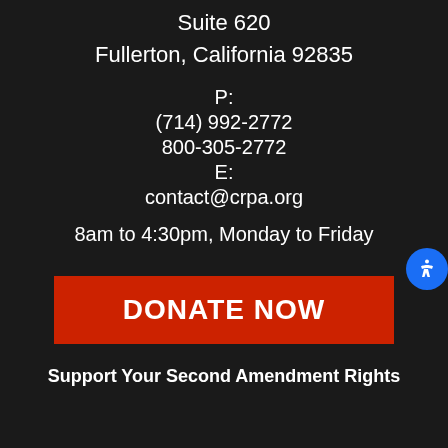Suite 620
Fullerton, California 92835
P:
(714) 992-2772
800-305-2772
E:
contact@crpa.org
8am to 4:30pm, Monday to Friday
DONATE NOW
Support Your Second Amendment Rights